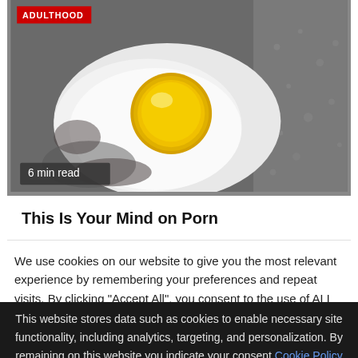[Figure (photo): Overhead photo of a fried egg sunny-side up on a dark pan surface, with white albumen spread out and yellow yolk in center. A red 'ADULTHOOD' tag label is overlaid top-left, and a dark badge '6 min read' is overlaid bottom-left.]
This Is Your Mind on Porn
We use cookies on our website to give you the most relevant experience by remembering your preferences and repeat visits. By clicking "Accept All", you consent to the use of ALL provide a controlled consent.
This website stores data such as cookies to enable necessary site functionality, including analytics, targeting, and personalization. By remaining on this website you indicate your consent Cookie Policy x